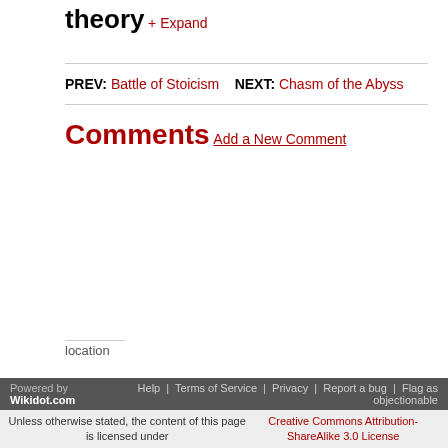theory
+ Expand
PREV: Battle of Stoicism   NEXT: Chasm of the Abyss
Comments
Add a New Comment
location
Powered by Wikidot.com   Help | Terms of Service | Privacy | Report a bug | Flag as objectionable
Unless otherwise stated, the content of this page is licensed under Creative Commons Attribution-ShareAlike 3.0 License